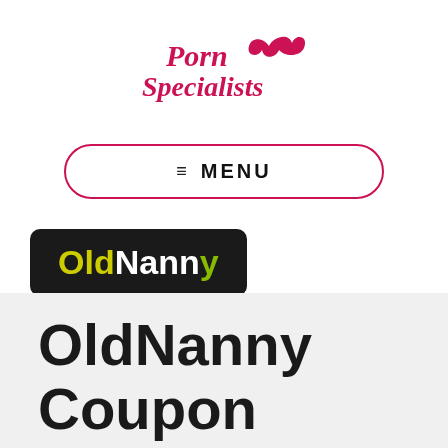[Figure (logo): PornSpecialists website logo with pink cursive text and star graphic]
[Figure (screenshot): Menu navigation bar with hamburger icon and MENU text, pink rounded border]
[Figure (logo): OldNanny logo on black rounded rectangle background with yellow and white text]
OldNanny Coupon